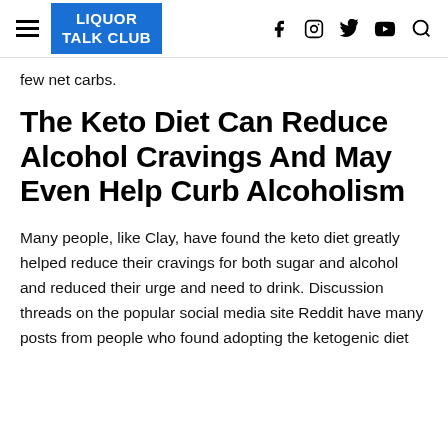LIQUOR TALK CLUB
few net carbs.
The Keto Diet Can Reduce Alcohol Cravings And May Even Help Curb Alcoholism
Many people, like Clay, have found the keto diet greatly helped reduce their cravings for both sugar and alcohol and reduced their urge and need to drink. Discussion threads on the popular social media site Reddit have many posts from people who found adopting the ketogenic diet